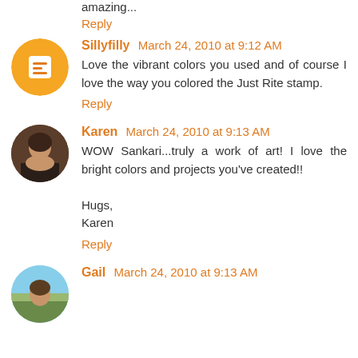amazing...
Reply
Sillyfilly March 24, 2010 at 9:12 AM
Love the vibrant colors you used and of course I love the way you colored the Just Rite stamp.
Reply
Karen March 24, 2010 at 9:13 AM
WOW Sankari...truly a work of art! I love the bright colors and projects you've created!!

Hugs,
Karen
Reply
Gail March 24, 2010 at 9:13 AM